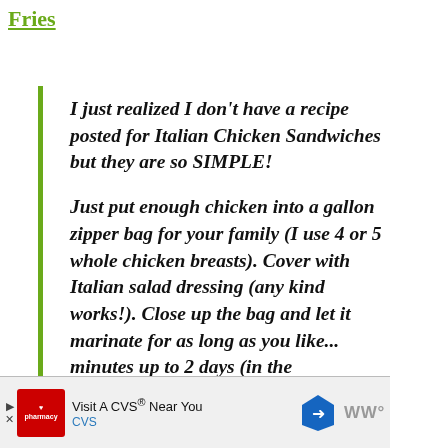Fries
I just realized I don't have a recipe posted for Italian Chicken Sandwiches but they are so SIMPLE! Just put enough chicken into a gallon zipper bag for your family (I use 4 or 5 whole chicken breasts). Cover with Italian salad dressing (any kind works!). Close up the bag and let it marinate for as long as you like... minutes up to 2 days (in the
[Figure (other): Social media share and like icon buttons (teal circles with heart and share icons)]
[Figure (screenshot): What's Next panel showing a thumbnail and text 'Free Printable Dinner Menu...']
[Figure (screenshot): CVS pharmacy advertisement banner - Visit A CVS Near You]